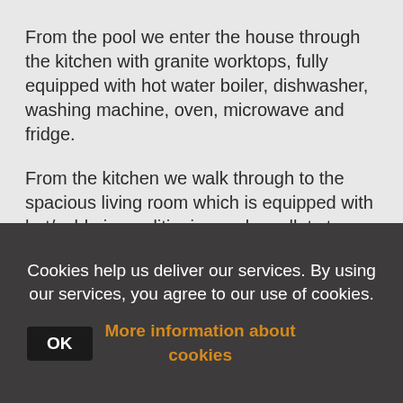From the pool we enter the house through the kitchen with granite worktops, fully equipped with hot water boiler, dishwasher, washing machine, oven, microwave and fridge.
From the kitchen we walk through to the spacious living room which is equipped with hot/cold air conditioning and a pellet stove.
We walk through the living room to the right and end up
Cookies help us deliver our services. By using our services, you agree to our use of cookies. OK More information about cookies